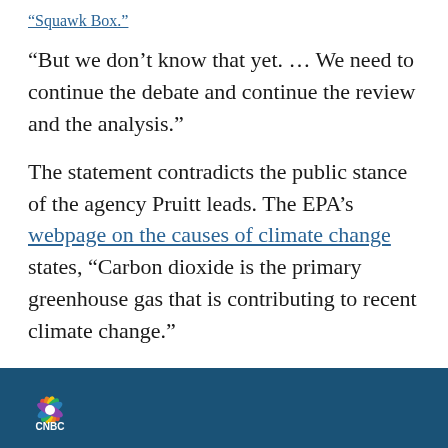“Squawk Box.”
“But we don’t know that yet. … We need to continue the debate and continue the review and the analysis.”
The statement contradicts the public stance of the agency Pruitt leads. The EPA’s webpage on the causes of climate change states, “Carbon dioxide is the primary greenhouse gas that is contributing to recent climate change.”
Pruitt’s view is also at odds with the conclusion of NASA and the National Oceanic and Atmospheric Administration
CNBC